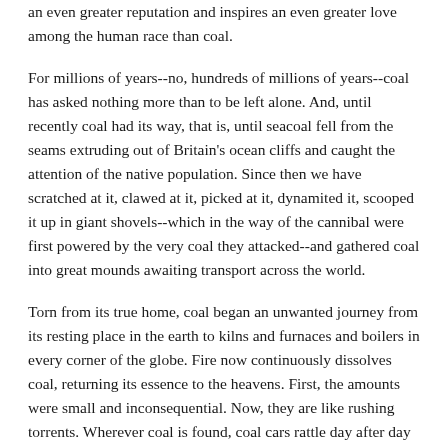an even greater reputation and inspires an even greater love among the human race than coal.
For millions of years--no, hundreds of millions of years--coal has asked nothing more than to be left alone. And, until recently coal had its way, that is, until seacoal fell from the seams extruding out of Britain's ocean cliffs and caught the attention of the native population. Since then we have scratched at it, clawed at it, picked at it, dynamited it, scooped it up in giant shovels--which in the way of the cannibal were first powered by the very coal they attacked--and gathered coal into great mounds awaiting transport across the world.
Torn from its true home, coal began an unwanted journey from its resting place in the earth to kilns and furnaces and boilers in every corner of the globe. Fire now continuously dissolves coal, returning its essence to the heavens. First, the amounts were small and inconsequential. Now, they are like rushing torrents. Wherever coal is found, coal cars rattle day after day and night after night without ceasing. Smokestacks which signal the coal cars' destinations belch endlessly with visible haze and invisible gases.
the coal cars rattle day after day and night after night...